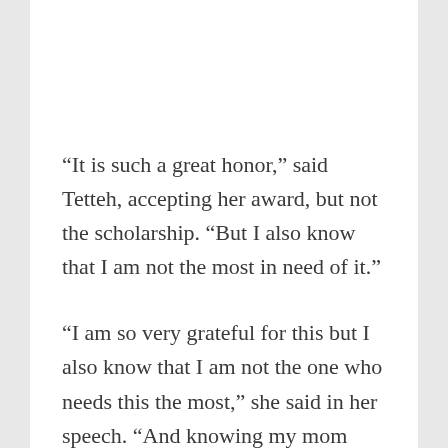“It is such a great honor,” said Tetteh, accepting her award, but not the scholarship. “But I also know that I am not the most in need of it.”
“I am so very grateful for this but I also know that I am not the one who needs this the most,” she said in her speech. “And knowing my mom went to community college, and how much that was helpful, I would be so